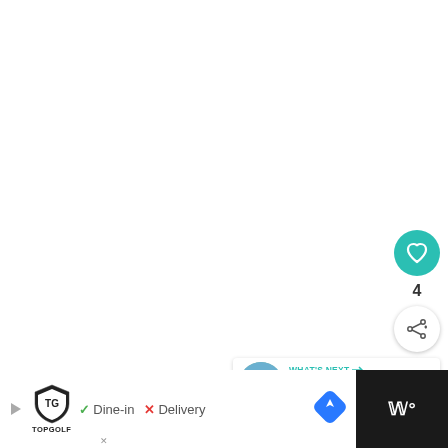[Figure (screenshot): White/blank main content area of a webpage]
[Figure (infographic): Action buttons: teal heart/like button with count 4, and white share button with plus icon]
4
[Figure (infographic): What's Next card showing thumbnail image and text: WHAT'S NEXT → Mykines: The World's Mos...]
[Figure (screenshot): Advertisement bar at bottom. Topgolf logo with shield icon. Check mark: Dine-in. X: Delivery. Blue navigation diamond icon. Dark right panel with Waze-like icon.]